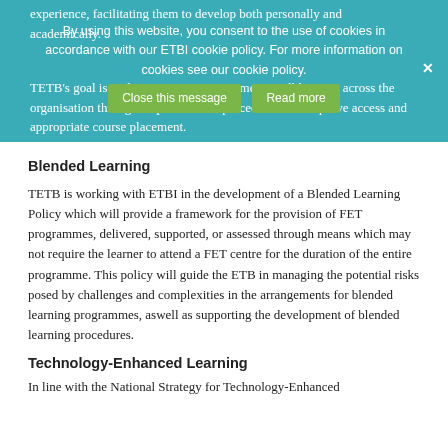experience, facilitating them to develop both personally and academically.
By using this website, you consent to the use of cookies in accordance with our ETBI cookie policy. For more information on cookies see our cookie policy.
TETB’s goal is to demonstrate a commitment to all learners across the organisation through its policies and procedures that improve access and appropriate course placement.
Blended Learning
TETB is working with ETBI in the development of a Blended Learning Policy which will provide a framework for the provision of FET programmes, delivered, supported, or assessed through means which may not require the learner to attend a FET centre for the duration of the entire programme. This policy will guide the ETB in managing the potential risks posed by challenges and complexities in the arrangements for blended learning programmes, aswell as supporting the development of blended learning procedures.
Technology-Enhanced Learning
In line with the National Strategy for Technology-Enhanced